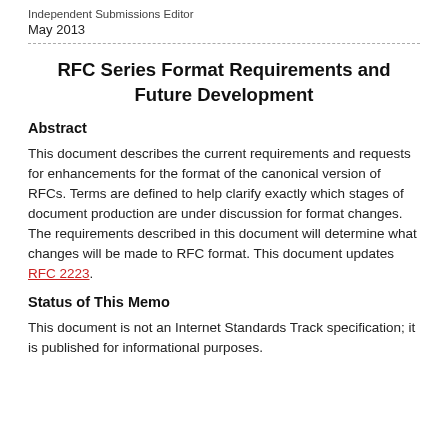Independent Submissions Editor
May 2013
RFC Series Format Requirements and Future Development
Abstract
This document describes the current requirements and requests for enhancements for the format of the canonical version of RFCs. Terms are defined to help clarify exactly which stages of document production are under discussion for format changes. The requirements described in this document will determine what changes will be made to RFC format. This document updates RFC 2223.
Status of This Memo
This document is not an Internet Standards Track specification; it is published for informational purposes.